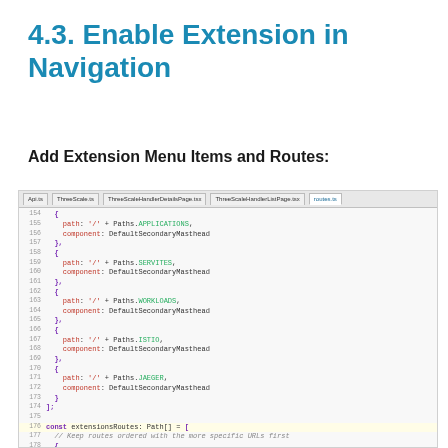4.3. Enable Extension in Navigation
Add Extension Menu Items and Routes:
[Figure (screenshot): Code editor screenshot showing routes.ts file with TypeScript route definitions including extensionsRoutes array with paths for /extensions/threescale/new and /extensions/threescale/:handlerName using ThreeScaleHandlerDetailsPage component]